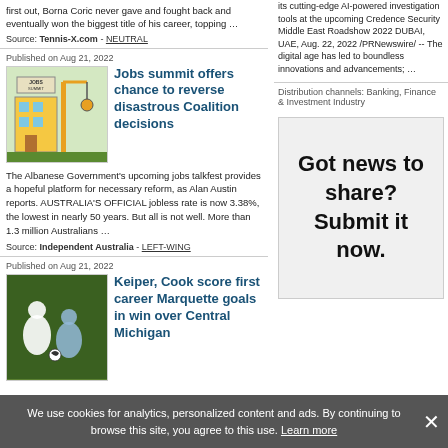first out, Borna Coric never gave and fought back and eventually won the biggest title of his career, topping …
Source: Tennis-X.com - NEUTRAL
Published on Aug 21, 2022
Jobs summit offers chance to reverse disastrous Coalition decisions
The Albanese Government's upcoming jobs talkfest provides a hopeful platform for necessary reform, as Alan Austin reports. AUSTRALIA'S OFFICIAL jobless rate is now 3.38%, the lowest in nearly 50 years. But all is not well. More than 1.3 million Australians …
Source: Independent Australia - LEFT-WING
Published on Aug 21, 2022
Keiper, Cook score first career Marquette goals in win over Central Michigan
its cutting-edge AI-powered investigation tools at the upcoming Credence Security Middle East Roadshow 2022 DUBAI, UAE, Aug. 22, 2022 /PRNewswire/ -- The digital age has led to boundless innovations and advancements; …
Distribution channels: Banking, Finance & Investment Industry
[Figure (infographic): Got news to share? Submit it now. advertisement box]
We use cookies for analytics, personalized content and ads. By continuing to browse this site, you agree to this use. Learn more